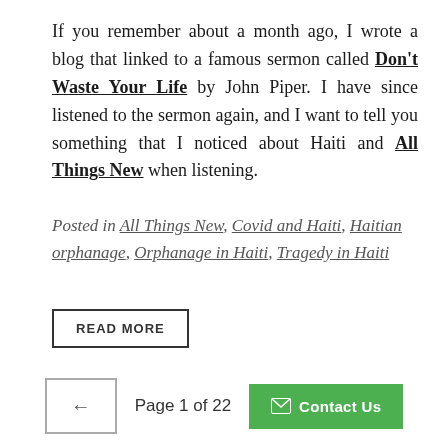If you remember about a month ago, I wrote a blog that linked to a famous sermon called Don't Waste Your Life by John Piper. I have since listened to the sermon again, and I want to tell you something that I noticed about Haiti and All Things New when listening.
Posted in All Things New, Covid and Haiti, Haitian orphanage, Orphanage in Haiti, Tragedy in Haiti
READ MORE
← | Page 1 of 22 | Contact Us